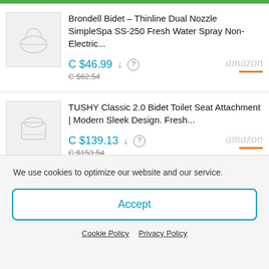Brondell Bidet – Thinline Dual Nozzle SimpleSpa SS-250 Fresh Water Spray Non-Electric...
C $46.99 ↓ ? C $62.54
TUSHY Classic 2.0 Bidet Toilet Seat Attachment | Modern Sleek Design. Fresh...
C $139.13 ↓ ? C $153.54
We use cookies to optimize our website and our service.
Accept
Cookie Policy  Privacy Policy